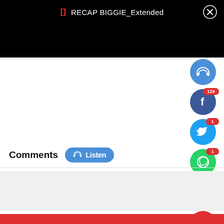[Figure (screenshot): Mobile app screenshot showing a media player top bar with bracket icon, title 'RECAP BIGGIE_Extended', and close button on black background]
Comments
[Figure (other): Listen button with headphones icon]
[Figure (other): Social sharing icons column: headphones (blue), Facebook (blue, 129 shares), Twitter (blue, 1), WhatsApp (green, 1), dislike emoji (33%), comment/chat (red), share (red)]